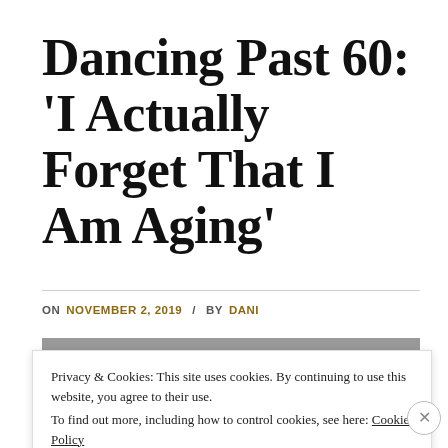Dancing Past 60: 'I Actually Forget That I Am Aging'
ON NOVEMBER 2, 2019 / BY DANI
[Figure (photo): Partial view of a photograph, partially obscured by cookie consent banner]
Privacy & Cookies: This site uses cookies. By continuing to use this website, you agree to their use.
To find out more, including how to control cookies, see here: Cookie Policy
Close and accept